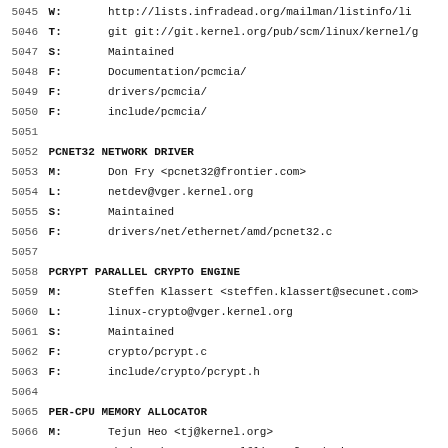5045 W:       http://lists.infradead.org/mailman/listinfo/li
5046 T:       git git://git.kernel.org/pub/scm/linux/kernel/g
5047 S:       Maintained
5048 F:       Documentation/pcmcia/
5049 F:       drivers/pcmcia/
5050 F:       include/pcmcia/
5051
5052 PCNET32 NETWORK DRIVER
5053 M:       Don Fry <pcnet32@frontier.com>
5054 L:       netdev@vger.kernel.org
5055 S:       Maintained
5056 F:       drivers/net/ethernet/amd/pcnet32.c
5057
5058 PCRYPT PARALLEL CRYPTO ENGINE
5059 M:       Steffen Klassert <steffen.klassert@secunet.com>
5060 L:       linux-crypto@vger.kernel.org
5061 S:       Maintained
5062 F:       crypto/pcrypt.c
5063 F:       include/crypto/pcrypt.h
5064
5065 PER-CPU MEMORY ALLOCATOR
5066 M:       Tejun Heo <tj@kernel.org>
5067 M:       Christoph Lameter <cl@linux-foundation.org>
5068 T:       git git://git.kernel.org/pub/scm/linux/kernel/g
5069 S:       Maintained
5070 F:       include/linux/percpu*.h
5071 F:       mm/percpu*.c
5072 F:       arch/*/include/asm/percpu.h
5073
5074 PER-TASK DELAY ACCOUNTING
5075 M:       Balbir Singh <bsingharora@gmail.com>
5076 S:       Maintained
5077 F:       include/linux/...